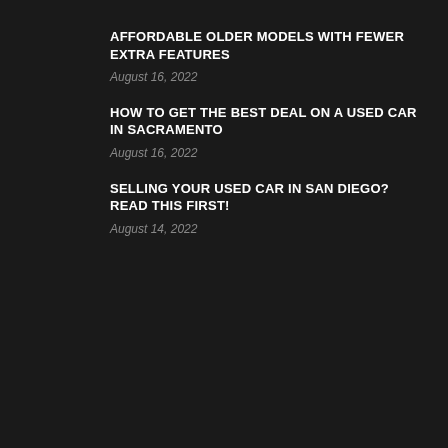AFFORDABLE OLDER MODELS WITH FEWER EXTRA FEATURES
August 16, 2022
HOW TO GET THE BEST DEAL ON A USED CAR IN SACRAMENTO
August 16, 2022
SELLING YOUR USED CAR IN SAN DIEGO? READ THIS FIRST!
August 14, 2022